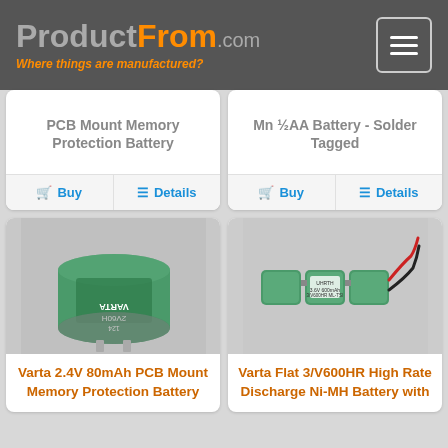ProductFrom.com - Where things are manufactured?
PCB Mount Memory Protection Battery
Mn ½AA Battery - Solder Tagged
[Figure (photo): Varta 2.4V 80mAh PCB Mount Memory Protection Battery - green cylindrical battery with PCB pins]
Varta 2.4V 80mAh PCB Mount Memory Protection Battery
[Figure (photo): Varta Flat 3/V600HR High Rate Discharge Ni-MH Battery with wires - three flat green cells connected with red and black wires]
Varta Flat 3/V600HR High Rate Discharge Ni-MH Battery with